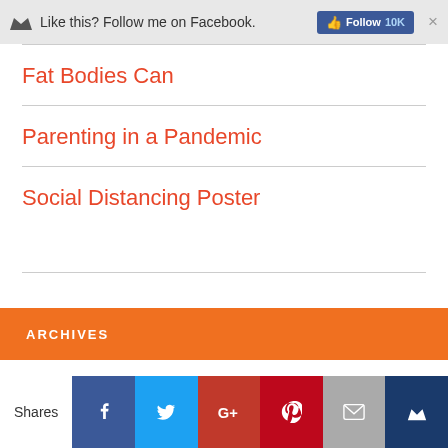Like this? Follow me on Facebook. Follow 10K ×
Fat Bodies Can
Parenting in a Pandemic
Social Distancing Poster
ARCHIVES
Shares [Facebook] [Twitter] [G+] [Pinterest] [Email] [Crown]